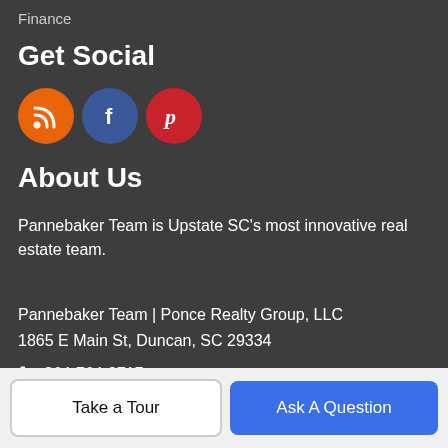Finance
Get Social
[Figure (illustration): Three circular social media icons: RSS (orange), Facebook (blue), Pinterest (red)]
About Us
Pannebaker Team is Upstate SC's most innovative real estate team.
Pannebaker Team | Ponce Realty Group, LLC
1865 E Main St, Duncan, SC 29334
📞 864-764-9717
© 2022 Greater Greenville Association of Realtors Multiple Listing
Take a Tour
Ask A Question